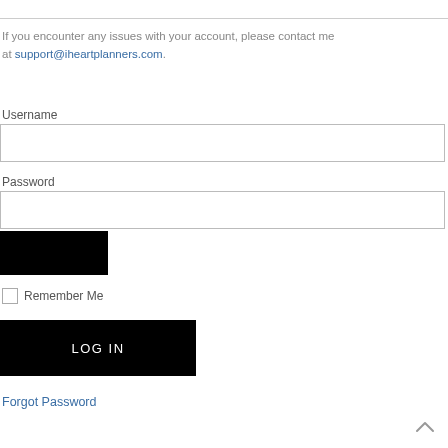If you encounter any issues with your account, please contact me at support@iheartplanners.com.
Username
Password
Remember Me
LOG IN
Forgot Password